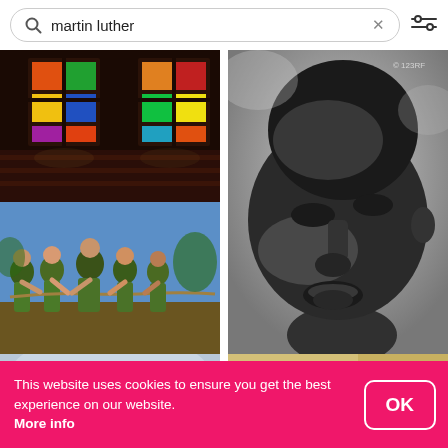[Figure (screenshot): Search bar with query 'martin luther', X clear button, and filter/settings icon on the right]
[Figure (photo): Photo of church interior with colorful stained glass windows and wooden pews]
[Figure (photo): Black and white close-up portrait photo of Martin Luther King Jr. looking upward]
[Figure (photo): Photo of military personnel in camouflage gear doing a tug-of-war activity outdoors under blue sky]
[Figure (photo): Partial photo at bottom left, clouds/sky visible]
[Figure (photo): Partial photo at bottom right, tan/gold and black graphic design]
This website uses cookies to ensure you get the best experience on our website. More info